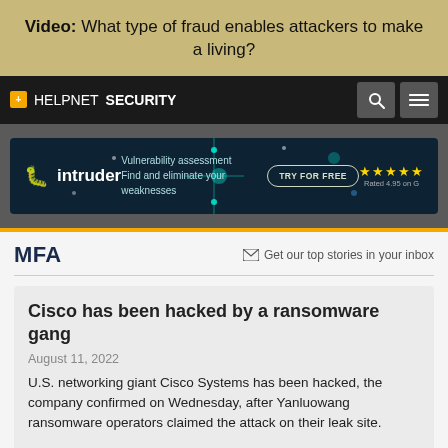Video: What type of fraud enables attackers to make a living?
HELPNETSECURITY
[Figure (screenshot): Intruder advertisement banner: yellow bug logo, 'intruder' branding, 'Vulnerability assessment Find and eliminate your weaknesses', TRY FOR FREE button, 5-star rating]
MFA
Get our top stories in your inbox
Cisco has been hacked by a ransomware gang
August 11, 2022
U.S. networking giant Cisco Systems has been hacked, the company confirmed on Wednesday, after Yanluowang ransomware operators claimed the attack on their leak site.